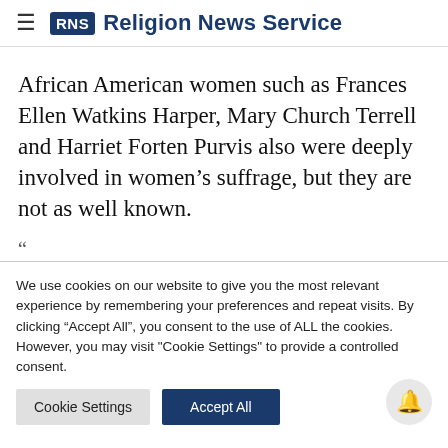RNS Religion News Service
African American women such as Frances Ellen Watkins Harper, Mary Church Terrell and Harriet Forten Purvis also were deeply involved in women’s suffrage, but they are not as well known.
“
We use cookies on our website to give you the most relevant experience by remembering your preferences and repeat visits. By clicking “Accept All”, you consent to the use of ALL the cookies. However, you may visit "Cookie Settings" to provide a controlled consent.
Cookie Settings | Accept All